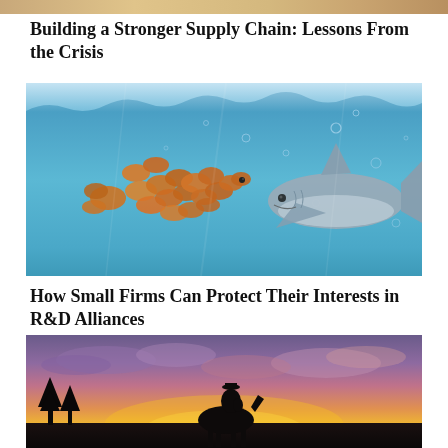[Figure (photo): Partial top strip of an image at the very top of the page]
Building a Stronger Supply Chain: Lessons From the Crisis
[Figure (photo): Underwater photo showing a school of orange goldfish arranged in the shape of a shark facing a real shark, with blue water and bubbles]
How Small Firms Can Protect Their Interests in R&D Alliances
[Figure (photo): Silhouette of a person on horseback against a dramatic sunset sky with purple, pink and orange clouds and dark tree silhouettes]